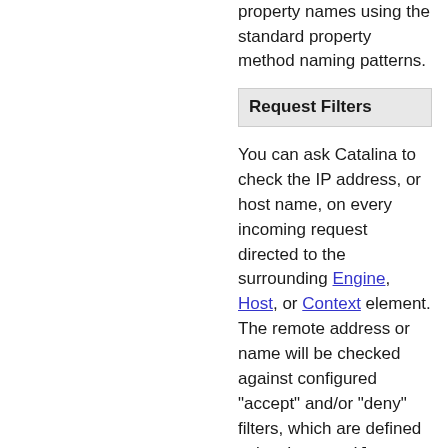corresponding JavaBean property names using the standard property method naming patterns.
Request Filters
You can ask Catalina to check the IP address, or host name, on every incoming request directed to the surrounding Engine, Host, or Context element. The remote address or name will be checked against configured "accept" and/or "deny" filters, which are defined using java.util.regex Regular Expression syntax. Requests that come from locations that are not accepted will be rejected with an HTTP "Forbidden" error. Example filter